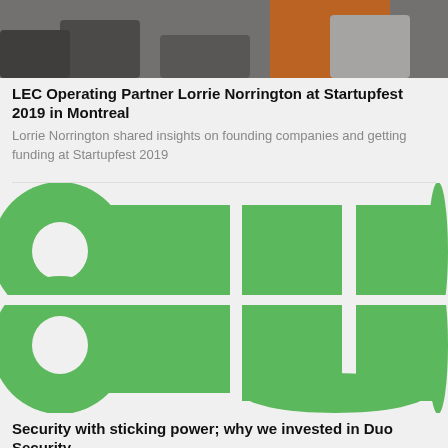[Figure (photo): Photo of people at a conference or event, partially cropped at the top, with orange and gray tones visible]
LEC Operating Partner Lorrie Norrington at Startupfest 2019 in Montreal
Lorrie Norrington shared insights on founding companies and getting funding at Startupfest 2019
[Figure (logo): Duo Security logo in green and white, showing stylized 'duo' letterforms as geometric shapes]
Security with sticking power; why we invested in Duo Security
LEC commentary on our investment in Duo Security, who Cisco acquired for $2.35 billion